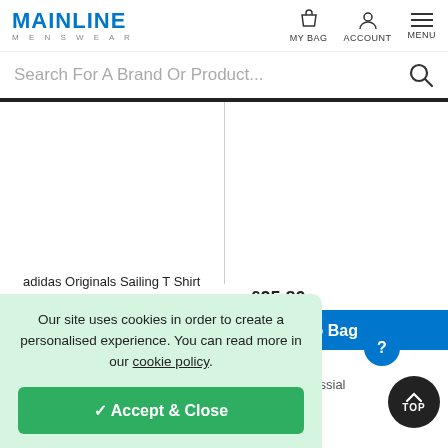MAINLINE MENSWEAR — MY BAG | ACCOUNT | MENU
Search For A Brand Or Product...
adidas Originals Sailing T Shirt Black
adidas Originals Animal Print T Shirt Blue
43.00 £25.80
d to Bag
Our site uses cookies in order to create a personalised experience. You can read more in our cookie policy.
✓ Accept & Close
mage for adidas Originals Essential